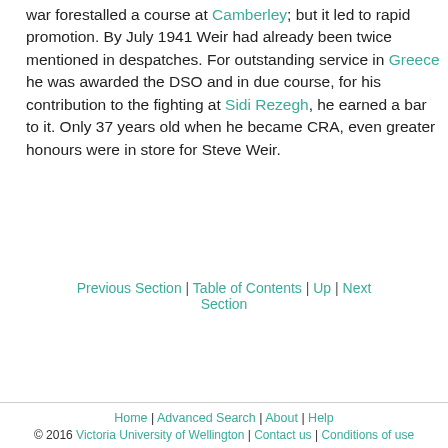war forestalled a course at Camberley; but it led to rapid promotion. By July 1941 Weir had already been twice mentioned in despatches. For outstanding service in Greece he was awarded the DSO and in due course, for his contribution to the fighting at Sidi Rezegh, he earned a bar to it. Only 37 years old when he became CRA, even greater honours were in store for Steve Weir.
Previous Section | Table of Contents | Up | Next Section
Home | Advanced Search | About | Help | © 2016 Victoria University of Wellington | Contact us | Conditions of use